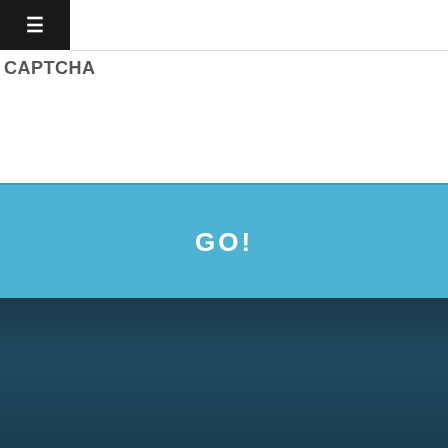≡
CAPTCHA
[Figure (screenshot): Blue button area with bold white text 'GO!']
[Figure (screenshot): Dark teal background section with text: SCHEDULE A ROOF INSPECTION WITH THE EXPERTS AT HORIZON ROOFING, a name input field, and a reCAPTCHA widget]